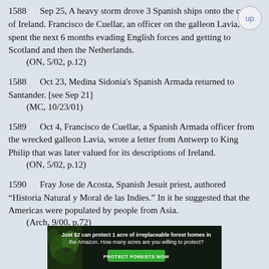1588    Sep 25, A heavy storm drove 3 Spanish ships onto the coast of Ireland. Francisco de Cuellar, an officer on the galleon Lavia, spent the next 6 months evading English forces and getting to Scotland and then the Netherlands.
    (ON, 5/02, p.12)
1588    Oct 23, Medina Sidonia's Spanish Armada returned to Santander. [see Sep 21]
    (MC, 10/23/01)
1589    Oct 4, Francisco de Cuellar, a Spanish Armada officer from the wrecked galleon Lavia, wrote a letter from Antwerp to King Philip that was later valued for its descriptions of Ireland.
    (ON, 5/02, p.12)
1590    Fray Jose de Acosta, Spanish Jesuit priest, authored “Historia Natural y Moral de las Indies.” In it he suggested that the Americas were populated by people from Asia.
    (Arch, 9/00, p.72)
[Figure (infographic): Advertisement banner: dark background with forest/leaf image on left, text 'Just $2 can protect 1 acre of irreplaceable forest homes in the Amazon. How many acres are you willing to protect?' and a green 'PROTECT FORESTS NOW' button.]